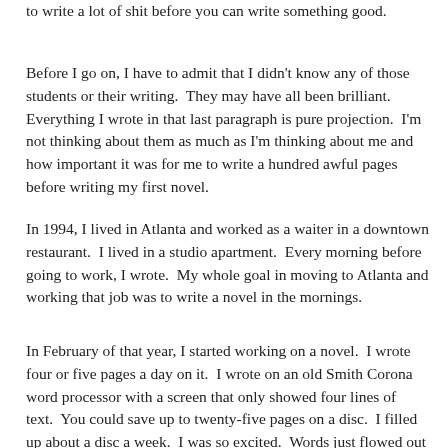to write a lot of shit before you can write something good.
Before I go on, I have to admit that I didn't know any of those students or their writing.  They may have all been brilliant.  Everything I wrote in that last paragraph is pure projection.  I'm not thinking about them as much as I'm thinking about me and how important it was for me to write a hundred awful pages before writing my first novel.
In 1994, I lived in Atlanta and worked as a waiter in a downtown restaurant.  I lived in a studio apartment.  Every morning before going to work, I wrote.  My whole goal in moving to Atlanta and working that job was to write a novel in the mornings.
In February of that year, I started working on a novel.  I wrote four or five pages a day on it.  I wrote on an old Smith Corona word processor with a screen that only showed four lines of text.  You could save up to twenty-five pages on a disc.  I filled up about a disc a week.  I was so excited.  Words just flowed out of